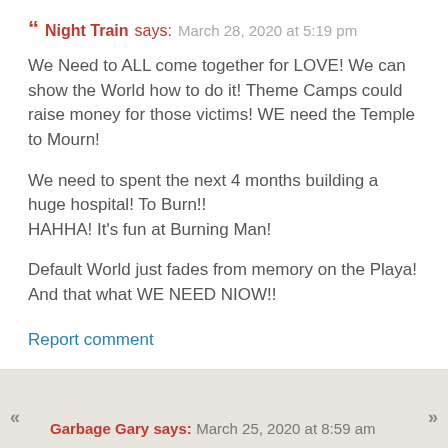Night Train says: March 28, 2020 at 5:19 pm
We Need to ALL come together for LOVE! We can show the World how to do it! Theme Camps could raise money for those victims! WE need the Temple to Mourn!
We need to spent the next 4 months building a huge hospital! To Burn!! HAHHA! It's fun at Burning Man!
Default World just fades from memory on the Playa! And that what WE NEED NIOW!!
Report comment
Garbage Gary says: March 25, 2020 at 8:59 am